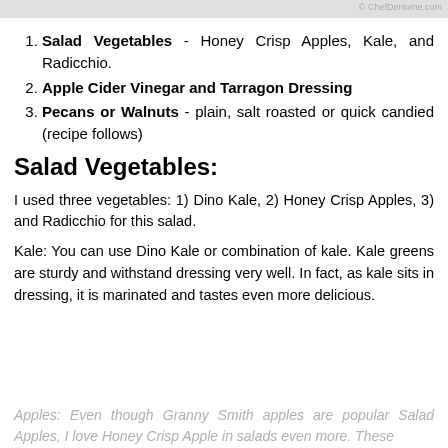© ChefDeHome.com
Salad Vegetables - Honey Crisp Apples, Kale, and Radicchio.
Apple Cider Vinegar and Tarragon Dressing
Pecans or Walnuts - plain, salt roasted or quick candied (recipe follows)
Salad Vegetables:
I used three vegetables: 1) Dino Kale, 2) Honey Crisp Apples, 3) and Radicchio for this salad.
Kale: You can use Dino Kale or combination of kale. Kale greens are sturdy and withstand dressing very well. In fact, as kale sits in dressing, it is marinated and tastes even more delicious.
Apples: Even though Granny Smith apples are popular Salad Apples, I love Honey Crisp Apple in salads even more. These